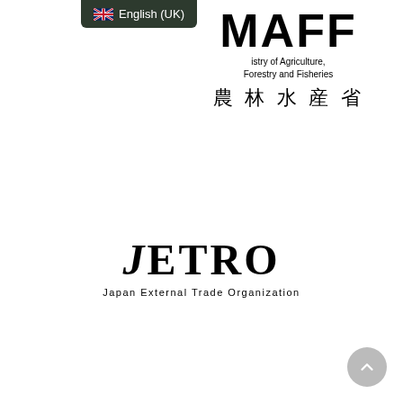[Figure (logo): MAFF logo with English language badge overlay. Shows 'English (UK)' badge with UK flag in dark green box, and MAFF acronym with 'Ministry of Agriculture, Forestry and Fisheries' subtitle and Japanese text '農林水産省']
[Figure (logo): JETRO logo — 'JETRO' in large serif font with italic J, and subtitle 'Japan External Trade Organization']